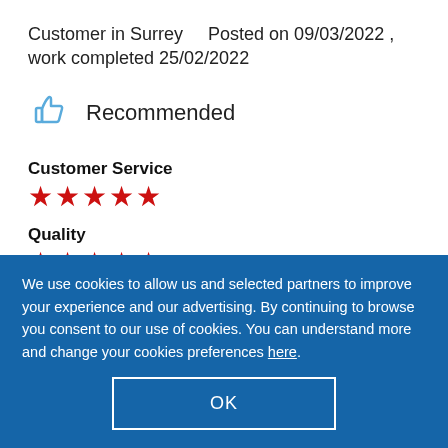Customer in Surrey    Posted on 09/03/2022 , work completed 25/02/2022
[Figure (illustration): Blue thumbs-up icon indicating recommendation]
Recommended
Customer Service
[Figure (illustration): 5 red star rating for Customer Service]
Quality
[Figure (illustration): 5 red star rating for Quality]
We use cookies to allow us and selected partners to improve your experience and our advertising. By continuing to browse you consent to our use of cookies. You can understand more and change your cookies preferences here.
OK